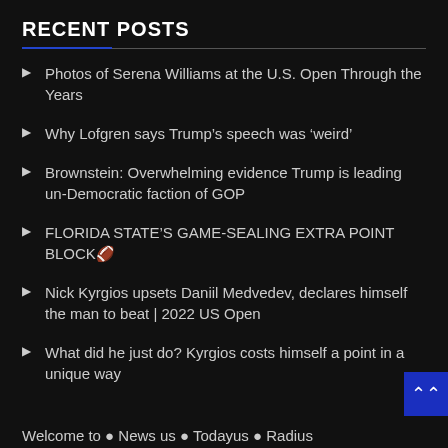RECENT POSTS
Photos of Serena Williams at the U.S. Open Through the Years
Why Lofgren says Trump's speech was 'weird'
Brownstein: Overwhelming evidence Trump is leading un-Democratic faction of GOP
FLORIDA STATE'S GAME-SEALING EXTRA POINT BLOCK🏈
Nick Kyrgios upsets Daniil Medvedev, declares himself the man to beat | 2022 US Open
What did he just do? Kyrgios costs himself a point in a unique way
Welcome to ● News us ● Todayus ● Radius